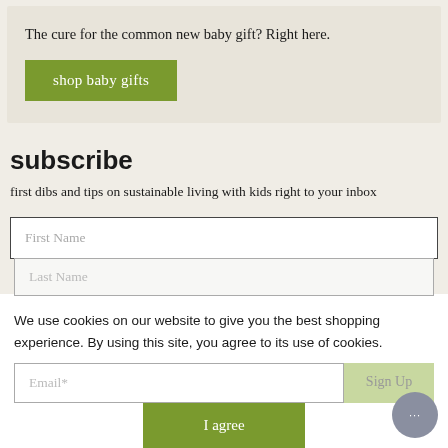The cure for the common new baby gift? Right here.
shop baby gifts
subscribe
first dibs and tips on sustainable living with kids right to your inbox
First Name
Last Name
Email*
Sign Up
We use cookies on our website to give you the best shopping experience. By using this site, you agree to its use of cookies.
I agree